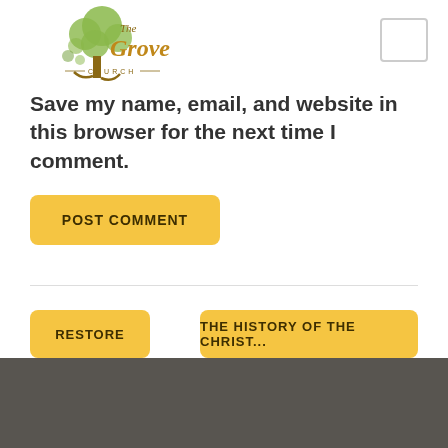[Figure (logo): The Grove Church logo with green tree and brown script text]
Save my name, email, and website in this browser for the next time I comment.
POST COMMENT
RESTORE
THE HISTORY OF THE CHRIST...